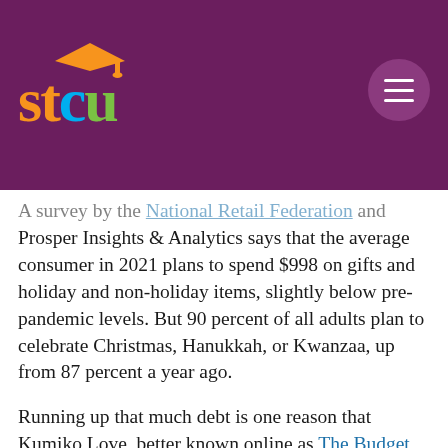[Figure (logo): STCU logo with orange 'st', blue 'c', green 'u' letters and an orange graduation cap above the 'u', on a purple background with a circular menu button on the right]
A survey by the National Retail Federation and Prosper Insights & Analytics says that the average consumer in 2021 plans to spend $998 on gifts and holiday and non-holiday items, slightly below pre-pandemic levels. But 90 percent of all adults plan to celebrate Christmas, Hanukkah, or Kwanzaa, up from 87 percent a year ago.
Running up that much debt is one reason that Kumiko Love, better known online as The Budget Mom, takes a tough stance on credit cards. The Spokane-based writer, speaker, and STCU